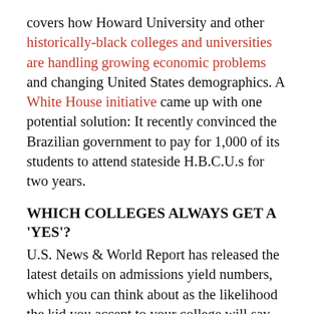covers how Howard University and other historically-black colleges and universities are handling growing economic problems and changing United States demographics. A White House initiative came up with one potential solution: It recently convinced the Brazilian government to pay for 1,000 of its students to attend stateside H.B.C.U.s for two years.
WHICH COLLEGES ALWAYS GET A 'YES'?
U.S. News & World Report has released the latest details on admissions yield numbers, which you can think about as the likelihood the kid you accept to your college will say yes. Who are the top charmers in higher education? For universities, it's Harvard and Brigham Young—Provo, and for liberal arts colleges, the U.S. Naval Academy and the U.S. Military Academy.  The snappy uniform